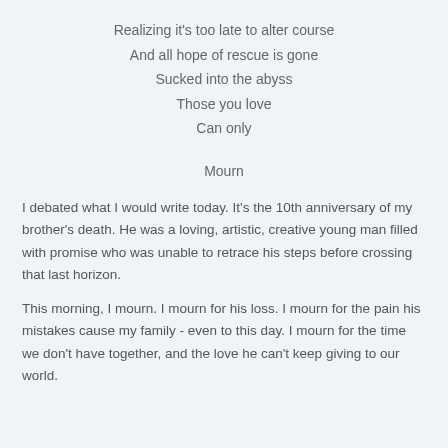Realizing it's too late to alter course
And all hope of rescue is gone
Sucked into the abyss
Those you love
Can only

Mourn
I debated what I would write today. It's the 10th anniversary of my brother's death. He was a loving, artistic, creative young man filled with promise who was unable to retrace his steps before crossing that last horizon.
This morning, I mourn. I mourn for his loss. I mourn for the pain his mistakes cause my family - even to this day. I mourn for the time we don't have together, and the love he can't keep giving to our world.